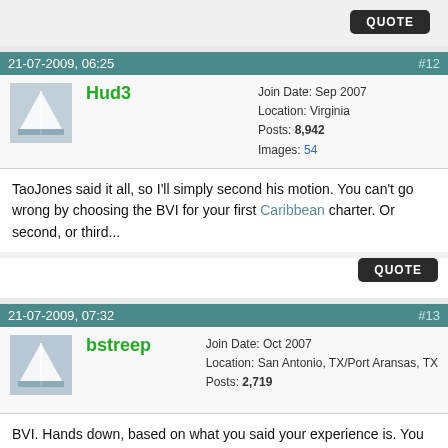[Figure (screenshot): Forum thread screenshot showing two posts from a sailing/boating forum]
21-07-2009, 06:25  #12
Join Date: Sep 2007
Location: Virginia
Posts: 8,942
Images: 54
Hud3
TaoJones said it all, so I'll simply second his motion. You can't go wrong by choosing the BVI for your first Caribbean charter. Or second, or third...
21-07-2009, 07:32  #13
Join Date: Oct 2007
Location: San Antonio, TX/Port Aransas, TX
Posts: 2,719
bstreep
BVI. Hands down, based on what you said your experience is. You WILL have a great time.
Also as noted, get with the Moorings or whoever you are going to use, and be up front. They WILL find out exactly how much you know once